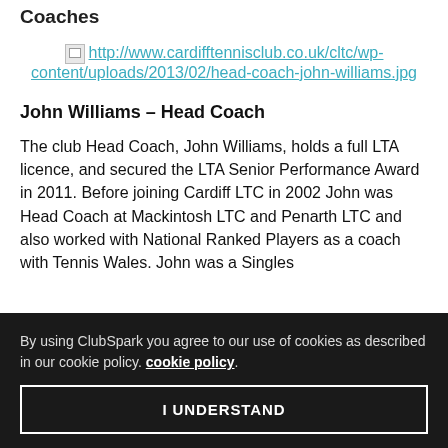Coaches
[Figure (photo): Broken image placeholder with link to head-coach-john-williams.jpg on cardifftennisclub.co.uk]
http://www.cardifftennisclub.co.uk/cltc/wp-content/uploads/2013/02/head-coach-john-williams.jpg
John Williams – Head Coach
The club Head Coach, John Williams, holds a full LTA licence, and secured the LTA Senior Performance Award in 2011. Before joining Cardiff LTC in 2002 John was Head Coach at Mackintosh LTC and Penarth LTC and also worked with National Ranked Players as a coach with Tennis Wales. John was a Singles
By using ClubSpark you agree to our use of cookies as described in our cookie policy. cookie policy.
I UNDERSTAND